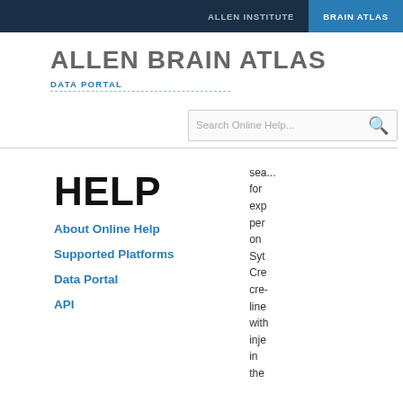ALLEN INSTITUTE   BRAIN ATLAS
ALLEN BRAIN ATLAS
DATA PORTAL
Search Online Help...
HELP
About Online Help
Supported Platforms
Data Portal
API
sea... for exp per on Syt Cre cre- line with inje in the